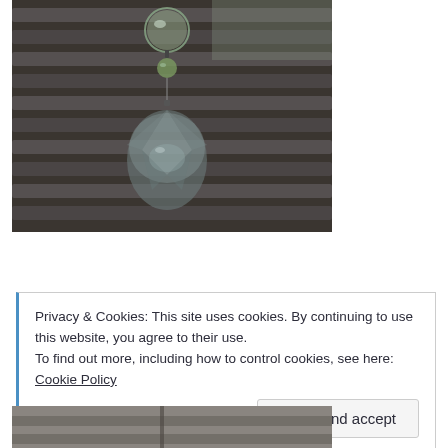[Figure (photo): A crystal or glass wind chime pendant hanging in front of horizontal window blinds. The pendant consists of a large faceted crystal teardrop shape at the bottom, a smaller green glass bead in the middle, and a clear glass ball at the top. The photo is taken in low light against grey horizontal metal blinds.]
Privacy & Cookies: This site uses cookies. By continuing to use this website, you agree to their use.
To find out more, including how to control cookies, see here: Cookie Policy
[Figure (photo): Partial photo visible at the bottom of the page, appears to show a similar wind chime or crystal object.]